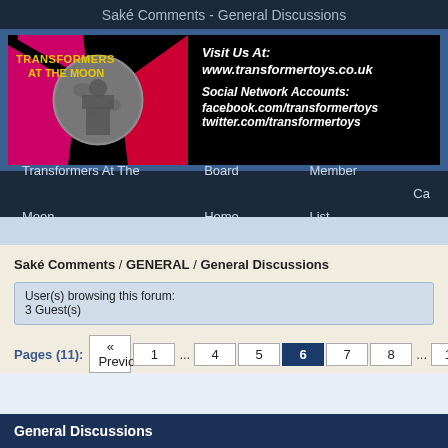Saké Comments - General Discussions
[Figure (screenshot): Transformers At The Moon banner ad with logo on left and website/social links on right]
Transformers At The Moon | Board Home | Member List | Ca
Saké Comments / GENERAL / General Discussions
User(s) browsing this forum:
3 Guest(s)
Pages (11): « Previous 1 ... 4 5 6 7 8 ... 11 Next »
General Discussions